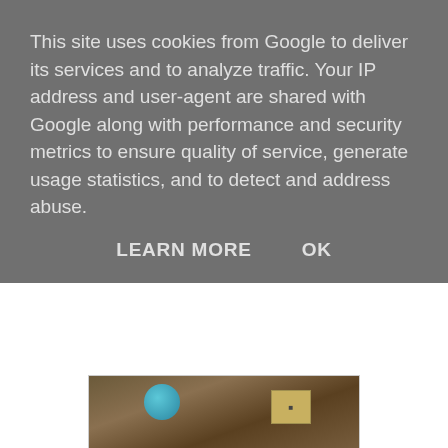This site uses cookies from Google to deliver its services and to analyze traffic. Your IP address and user-agent are shared with Google along with performance and security metrics to ensure quality of service, generate usage statistics, and to detect and address abuse.
LEARN MORE    OK
[Figure (photo): Partial photo of a makeup product on a brown surface with a teal circular element and a box-like product]
Well hello there!
I feel like I'm posting this every week because of how fast the time is going! I'm actually going to Paris with my mum on Saturday for a couple of days, which I'm so excited for! As it is the start of the month of course it is favourites time again!
My first favourite of the month is the Makeup Revolution HD Pro Amplified Palette in Mega Matte, I did mention this in my Makeup Revolution Haul a couple of posts ago. I did buy this at the beginning of the month and I absolutely love it, I cannot put it down! The 2 setting powders look sooo smooth on my skin, the